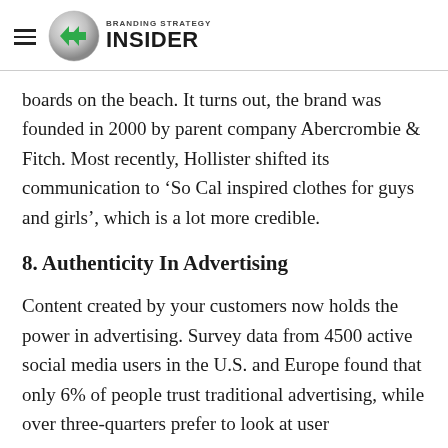Branding Strategy Insider
boards on the beach. It turns out, the brand was founded in 2000 by parent company Abercrombie & Fitch. Most recently, Hollister shifted its communication to ‘So Cal inspired clothes for guys and girls’, which is a lot more credible.
8. Authenticity In Advertising
Content created by your customers now holds the power in advertising. Survey data from 4500 active social media users in the U.S. and Europe found that only 6% of people trust traditional advertising, while over three-quarters prefer to look at user generated images than those the company…